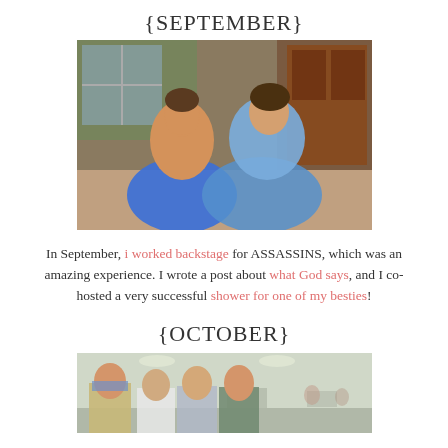{SEPTEMBER}
[Figure (photo): Two women smiling and posing together indoors; one wearing a blue tank top, one wearing a blue floral dress]
In September, i worked backstage for ASSASSINS, which was an amazing experience. I wrote a post about what God says, and I co-hosted a very successful shower for one of my besties!
{OCTOBER}
[Figure (photo): Group of four people posing together in a large room; man in tan blazer on left, three others including two women and a man on the right]